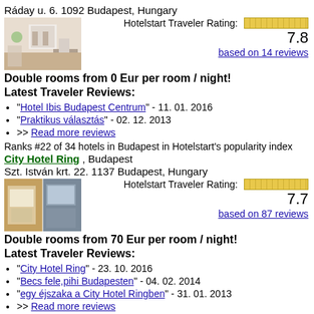Ráday u. 6. 1092 Budapest, Hungary
[Figure (photo): Hotel lobby photo with reception desk and plants]
Hotelstart Traveler Rating: 7.8
based on 14 reviews
Double rooms from 0 Eur per room / night!
Latest Traveler Reviews:
"Hotel Ibis Budapest Centrum" - 11. 01. 2016
"Praktikus választás" - 02. 12. 2013
>> Read more reviews
Ranks #22 of 34 hotels in Budapest in Hotelstart's popularity index
City Hotel Ring , Budapest
Szt. István krt. 22. 1137 Budapest, Hungary
[Figure (photo): Two hotel room photos side by side]
Hotelstart Traveler Rating: 7.7
based on 87 reviews
Double rooms from 70 Eur per room / night!
Latest Traveler Reviews:
"City Hotel Ring" - 23. 10. 2016
"Becs fele,pihi Budapesten" - 04. 02. 2014
"egy éjszaka a City Hotel Ringben" - 31. 01. 2013
>> Read more reviews